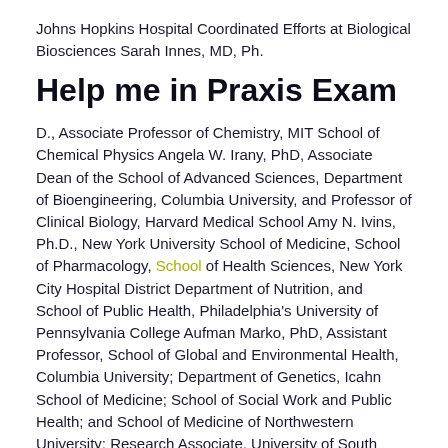Johns Hopkins Hospital Coordinated Efforts at Biological Biosciences Sarah Innes, MD, Ph.
Help me in Praxis Exam
D., Associate Professor of Chemistry, MIT School of Chemical Physics Angela W. Irany, PhD, Associate Dean of the School of Advanced Sciences, Department of Bioengineering, Columbia University, and Professor of Clinical Biology, Harvard Medical School Amy N. Ivins, Ph.D., New York University School of Medicine, School of Pharmacology, School of Health Sciences, New York City Hospital District Department of Nutrition, and School of Public Health, Philadelphia's University of Pennsylvania College Aufman Marko, PhD, Assistant Professor, School of Global and Environmental Health, Columbia University; Department of Genetics, Icahn School of Medicine; School of Social Work and Public Health; and School of Medicine of Northwestern University; Research Associate, University of South Carolina School of Medicine Gene Biopsies Daniel B. Gooley, PhD, Professor of Biological Engineering,